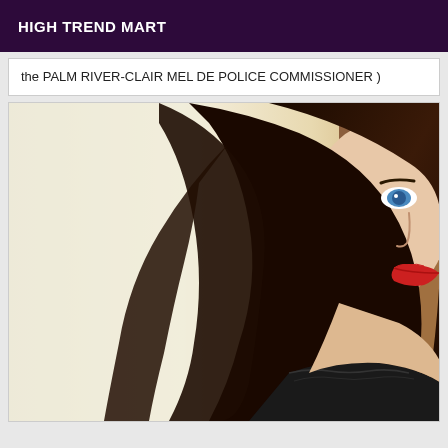HIGH TREND MART
the PALM RIVER-CLAIR MEL DE POLICE COMMISSIONER )
[Figure (photo): A woman with long dark hair, blue eyes, and red lipstick wearing a black lace top, photographed from the side/front against a light wall and wooden door frame.]